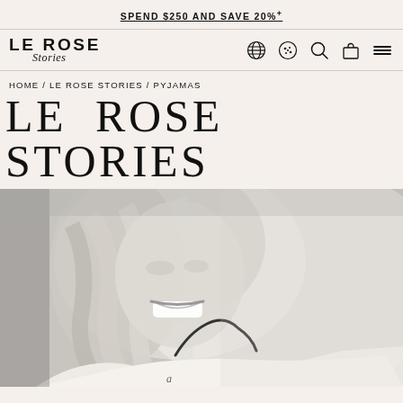SPEND $250 AND SAVE 20%+
[Figure (logo): LE ROSE Stories logo with globe, cookie, search, bag and hamburger icons]
HOME / LE ROSE STORIES / PYJAMAS
LE ROSE STORIES
[Figure (photo): Black and white photo of a smiling blonde woman wearing a white pyjama top with dark piping trim, script lettering visible at bottom]